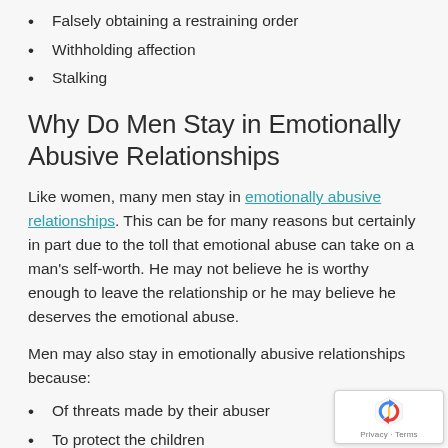Falsely obtaining a restraining order
Withholding affection
Stalking
Why Do Men Stay in Emotionally Abusive Relationships
Like women, many men stay in emotionally abusive relationships. This can be for many reasons but certainly in part due to the toll that emotional abuse can take on a man's self-worth. He may not believe he is worthy enough to leave the relationship or he may believe he deserves the emotional abuse.
Men may also stay in emotionally abusive relationships because:
Of threats made by their abuser
To protect the children